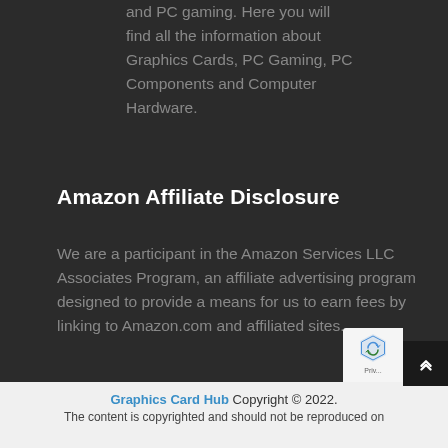and PC gaming. Here you will find all the information about Graphics Cards, PC Gaming, PC Components and Computer Hardware.
Amazon Affiliate Disclosure
We are a participant in the Amazon Services LLC Associates Program, an affiliate advertising program designed to provide a means for us to earn fees by linking to Amazon.com and affiliated sites.
Graphics Card Hub Copyright © 2022. The content is copyrighted and should not be reproduced on